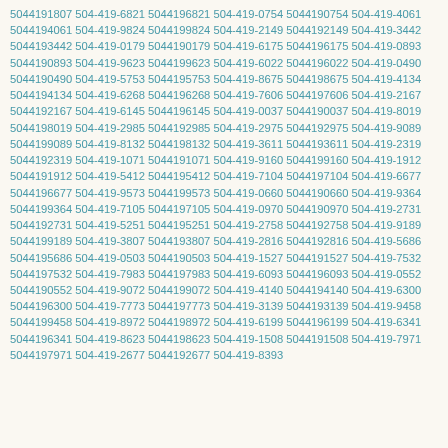5044191807 504-419-6821 5044196821 504-419-0754 5044190754 504-419-4061 5044194061 504-419-9824 5044199824 504-419-2149 5044192149 504-419-3442 5044193442 504-419-0179 5044190179 504-419-6175 5044196175 504-419-0893 5044190893 504-419-9623 5044199623 504-419-6022 5044196022 504-419-0490 5044190490 504-419-5753 5044195753 504-419-8675 5044198675 504-419-4134 5044194134 504-419-6268 5044196268 504-419-7606 5044197606 504-419-2167 5044192167 504-419-6145 5044196145 504-419-0037 5044190037 504-419-8019 5044198019 504-419-2985 5044192985 504-419-2975 5044192975 504-419-9089 5044199089 504-419-8132 5044198132 504-419-3611 5044193611 504-419-2319 5044192319 504-419-1071 5044191071 504-419-9160 5044199160 504-419-1912 5044191912 504-419-5412 5044195412 504-419-7104 5044197104 504-419-6677 5044196677 504-419-9573 5044199573 504-419-0660 5044190660 504-419-9364 5044199364 504-419-7105 5044197105 504-419-0970 5044190970 504-419-2731 5044192731 504-419-5251 5044195251 504-419-2758 5044192758 504-419-9189 5044199189 504-419-3807 5044193807 504-419-2816 5044192816 504-419-5686 5044195686 504-419-0503 5044190503 504-419-1527 5044191527 504-419-7532 5044197532 504-419-7983 5044197983 504-419-6093 5044196093 504-419-0552 5044190552 504-419-9072 5044199072 504-419-4140 5044194140 504-419-6300 5044196300 504-419-7773 5044197773 504-419-3139 5044193139 504-419-9458 5044199458 504-419-8972 5044198972 504-419-6199 5044196199 504-419-6341 5044196341 504-419-8623 5044198623 504-419-1508 5044191508 504-419-7971 5044197971 504-419-2677 5044192677 504-419-8393